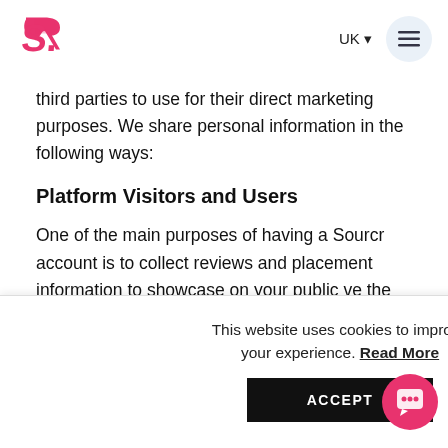Sourcr — UK navigation header
third parties to use for their direct marketing purposes. We share personal information in the following ways:
Platform Visitors and Users
One of the main purposes of having a Sourcr account is to collect reviews and placement information to showcase on your public profile and customize the platform content that you
This website uses cookies to improve your experience. Read More
ACCEPT